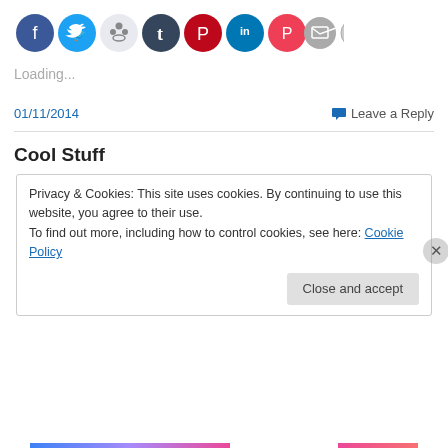[Figure (infographic): Row of social media sharing icon circles: Facebook (blue), Twitter (light blue), Reddit (light gray/white), Tumblr (dark navy), Pinterest (red), LinkedIn (blue), Pocket (red), Email (gray), Print (gray)]
Loading...
01/11/2014
Leave a Reply
Cool Stuff
Privacy & Cookies: This site uses cookies. By continuing to use this website, you agree to their use.
To find out more, including how to control cookies, see here: Cookie Policy
Close and accept